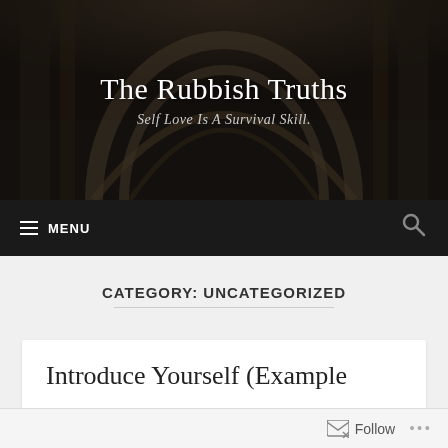[Figure (photo): Cathedral interior background image — dark arched stone architecture with ornate ceiling, used as website header banner background]
The Rubbish Truths
Self Love Is A Survival Skill.
≡ MENU
CATEGORY: UNCATEGORIZED
Introduce Yourself (Example